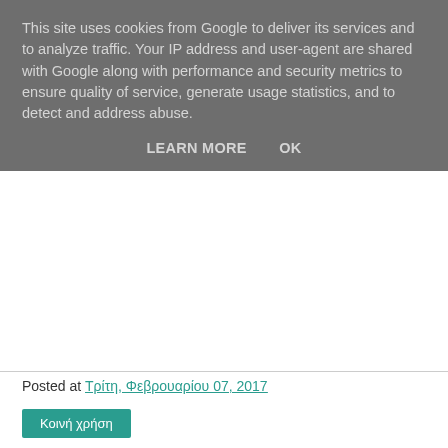This site uses cookies from Google to deliver its services and to analyze traffic. Your IP address and user-agent are shared with Google along with performance and security metrics to ensure quality of service, generate usage statistics, and to detect and address abuse.
LEARN MORE   OK
Posted at Τρίτη, Φεβρουαρίου 07, 2017
Κοινή χρήση
10 σχόλια:
Manilla Road  8 Φεβρουαρίου 2017 - 11:52 μ.μ.
Βρήκα αρκετά από τη λίστα που δεν έχω ακούσει. Να δω πότε!
Sumerlands: μελωδικό, ποιοτικό heavy metal.
Eternal Champion: επικούρα. Από τα καλύτερα επικά